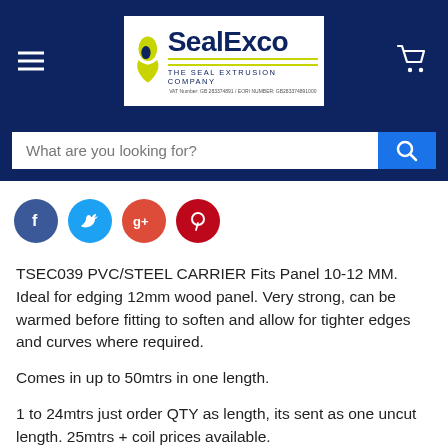SealExco — THE SEAL EXTRUSION COMPANY
What are you looking for?
[Figure (other): Social media share icons: Facebook, Twitter, Google+, Pinterest]
TSEC039 PVC/STEEL CARRIER Fits Panel 10-12 MM. Ideal for edging 12mm wood panel. Very strong, can be warmed before fitting to soften and allow for tighter edges and curves where required.

Comes in up to 50mtrs in one length.

1 to 24mtrs just order QTY as length, its sent as one uncut length. 25mtrs + coil prices available.